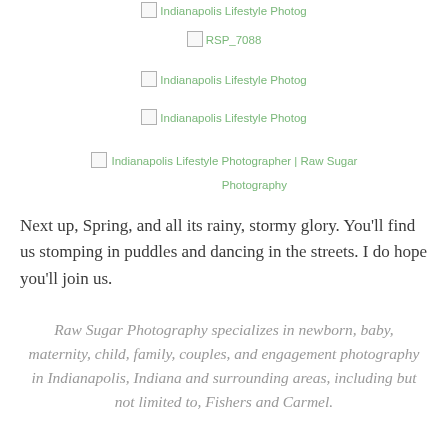[Figure (photo): Broken image placeholder: Indianapolis Lifestyle Photog (top, partially visible)]
[Figure (photo): Broken image placeholder: RSP_7088]
[Figure (photo): Broken image placeholder: Indianapolis Lifestyle Photog]
[Figure (photo): Broken image placeholder: Indianapolis Lifestyle Photog]
[Figure (photo): Broken image placeholder: Indianapolis Lifestyle Photographer | Raw Sugar Photography]
Next up, Spring, and all its rainy, stormy glory. You'll find us stomping in puddles and dancing in the streets. I do hope you'll join us.
Raw Sugar Photography specializes in newborn, baby, maternity, child, family, couples, and engagement photography in Indianapolis, Indiana and surrounding areas, including but not limited to, Fishers and Carmel.